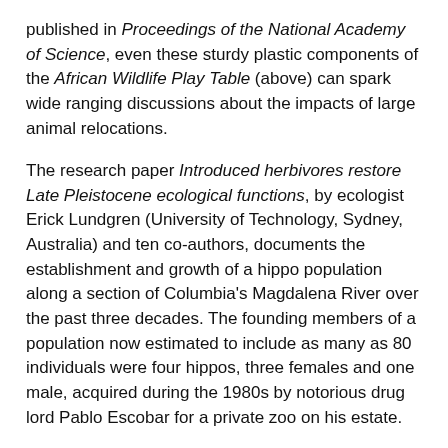published in Proceedings of the National Academy of Science, even these sturdy plastic components of the African Wildlife Play Table (above) can spark wide ranging discussions about the impacts of large animal relocations.
The research paper Introduced herbivores restore Late Pleistocene ecological functions, by ecologist Erick Lundgren (University of Technology, Sydney, Australia) and ten co-authors, documents the establishment and growth of a hippo population along a section of Columbia's Magdalena River over the past three decades. The founding members of a population now estimated to include as many as 80 individuals were four hippos, three females and one male, acquired during the 1980s by notorious drug lord Pablo Escobar for a private zoo on his estate.